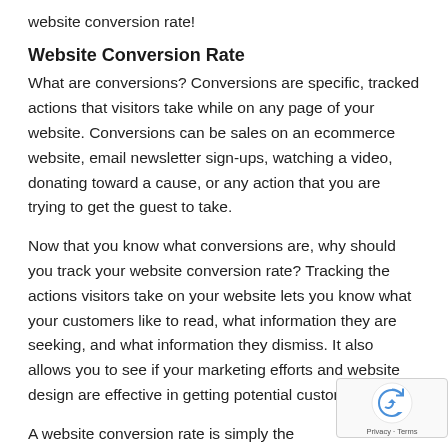website conversion rate!
Website Conversion Rate
What are conversions? Conversions are specific, tracked actions that visitors take while on any page of your website. Conversions can be sales on an ecommerce website, email newsletter sign-ups, watching a video, donating toward a cause, or any action that you are trying to get the guest to take.
Now that you know what conversions are, why should you track your website conversion rate? Tracking the actions visitors take on your website lets you know what your customers like to read, what information they are seeking, and what information they dismiss. It also allows you to see if your marketing efforts and website design are effective in getting potential customers to act.
A website conversion rate is simply the number o...